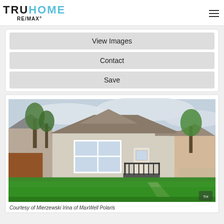TRUHOME RE/MAX
View Images
Contact
Save
[Figure (photo): Exterior photo of a single-storey residential house with beige siding, a front staircase with black railing, white windows, and a green lawn. Neighboring houses visible on both sides. Overcast sky in background.]
Courtesy of Mierzewski Irina of MaxWell Polaris